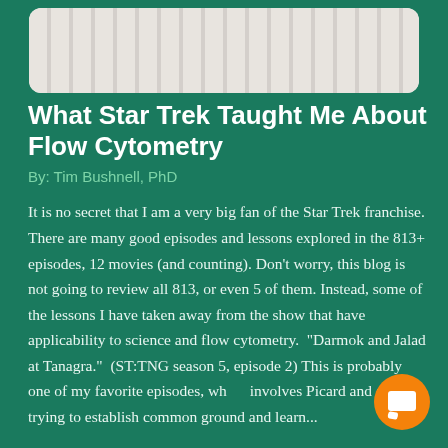[Figure (photo): Partial image of test tubes or laboratory vials with striped texture, shown at top of page in a rounded rectangle]
What Star Trek Taught Me About Flow Cytometry
By: Tim Bushnell, PhD
It is no secret that I am a very big fan of the Star Trek franchise. There are many good episodes and lessons explored in the 813+ episodes, 12 movies (and counting). Don't worry, this blog is not going to review all 813, or even 5 of them. Instead, some of the lessons I have taken away from the show that have applicability to science and flow cytometry.  "Darmok and Jalad at Tanagra."  (ST:TNG season 5, episode 2) This is probably one of my favorite episodes, which involves Picard and an alien trying to establish common ground and learn...